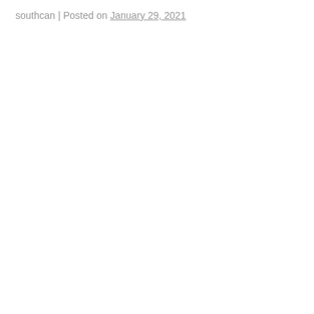southcan | Posted on January 29, 2021